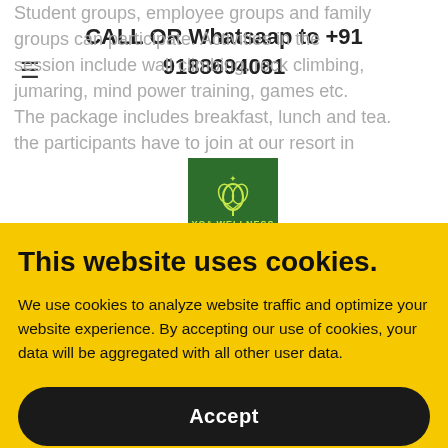CALL OR Whatsaap to +91 9188694081
Student groups, employee groups and family groups can participate. Activities in the session include wall climbing, rock climbing, jumaring, mind power training, games etc. The package includes breakfast, lunch and tea. the participants have to join at our resort in Munnar at 8 AM. Schools colleges, companies and corporate houses can book the session, The night stay will be at the hill top in tents and
[Figure (logo): YCA Wellness logo — green square with leaf/plant icon and brand name in yellow-green text]
This website uses cookies.
We use cookies to analyze website traffic and optimize your website experience. By accepting our use of cookies, your data will be aggregated with all other user data.
Accept